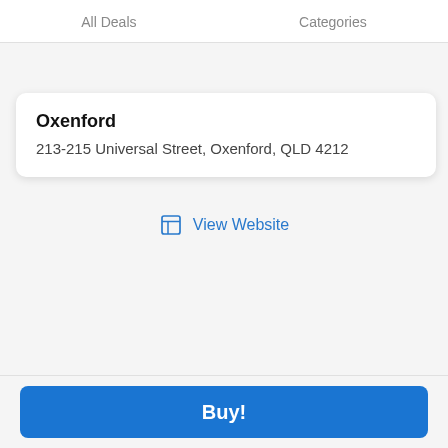All Deals   Categories
Oxenford
213-215 Universal Street, Oxenford, QLD 4212
View Website
Buy!